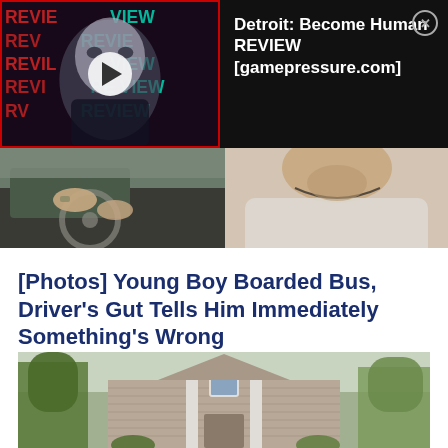[Figure (screenshot): Video ad thumbnail showing a game character face with REVIEW text overlay, dark background]
Detroit: Become Human REVIEW [gamepressure.com]
[Figure (photo): News article image strip: left half shows a person driving/hands on wheel, right half shows a person's face/neck closeup]
[Photos] Young Boy Boarded Bus, Driver's Gut Tells Him Immediately Something's Wrong
12Up - Sponsored
[Figure (photo): Photo of a two-story suburban house with siding, trees on both sides]